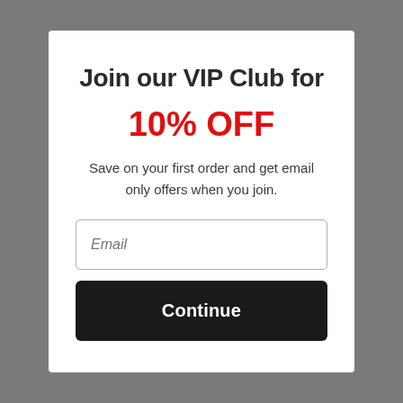Join our VIP Club for
10% OFF
Save on your first order and get email only offers when you join.
Email
Continue